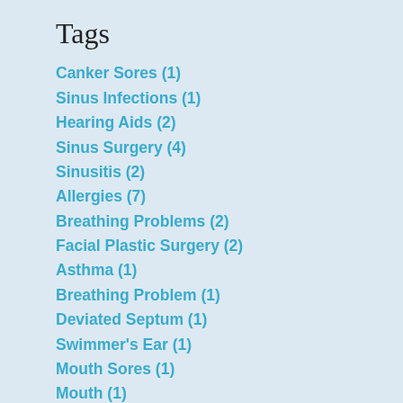Tags
Canker Sores (1)
Sinus Infections (1)
Hearing Aids (2)
Sinus Surgery (4)
Sinusitis (2)
Allergies (7)
Breathing Problems (2)
Facial Plastic Surgery (2)
Asthma (1)
Breathing Problem (1)
Deviated Septum (1)
Swimmer's Ear (1)
Mouth Sores (1)
Mouth (1)
Nosebleeds (2)
Swallowing Disorders (1)
Dizziness (2)
Skin (1)
Dermabrasion (1)